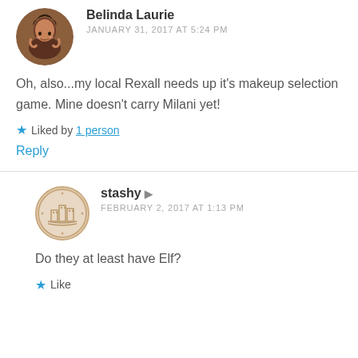Belinda Laurie
JANUARY 31, 2017 AT 5:24 PM
Oh, also...my local Rexall needs up it's makeup selection game. Mine doesn't carry Milani yet!
Liked by 1 person
Reply
stashy
FEBRUARY 2, 2017 AT 1:13 PM
Do they at least have Elf?
Like